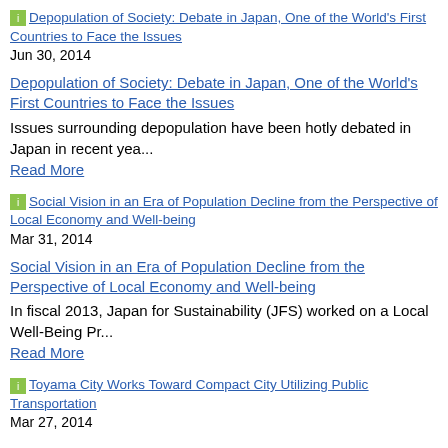[Figure (other): Thumbnail image link for 'Depopulation of Society: Debate in Japan, One of the World's First Countries to Face the Issues']
Jun 30, 2014
Depopulation of Society: Debate in Japan, One of the World's First Countries to Face the Issues
Issues surrounding depopulation have been hotly debated in Japan in recent yea...
Read More
[Figure (other): Thumbnail image link for 'Social Vision in an Era of Population Decline from the Perspective of Local Economy and Well-being']
Mar 31, 2014
Social Vision in an Era of Population Decline from the Perspective of Local Economy and Well-being
In fiscal 2013, Japan for Sustainability (JFS) worked on a Local Well-Being Pr...
Read More
[Figure (other): Thumbnail image link for 'Toyama City Works Toward Compact City Utilizing Public Transportation']
Mar 27, 2014